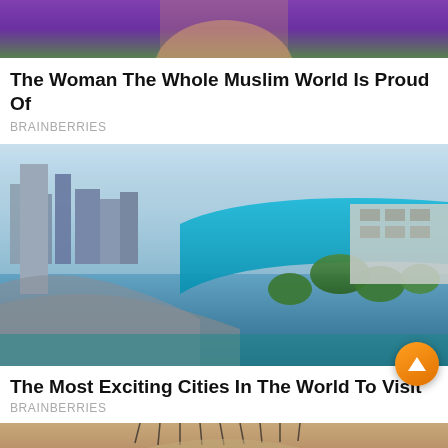[Figure (photo): Partial photo of a woman in purple/green clothing, cropped to top portion]
The Woman The Whole Muslim World Is Proud Of
BRAINBERRIES
[Figure (photo): Aerial photo of Singapore skyline with Marina Bay Sands infinity pool and waterway]
The Most Exciting Cities In The World To Visit
BRAINBERRIES
[Figure (photo): Close-up photo of human eyes with eyelashes, cropped at bottom of page]